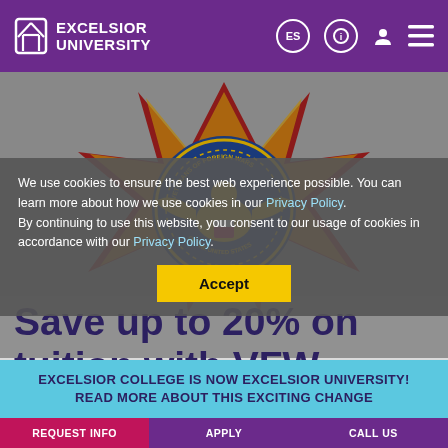EXCELSIOR UNIVERSITY
[Figure (logo): VFW (Veterans of Foreign Wars) emblem/seal — circular blue seal with eagle, surrounded by a red and gold star-burst cross badge]
We use cookies to ensure the best web experience possible. You can learn more about how we use cookies in our Privacy Policy. By continuing to use this website, you consent to our usage of cookies in accordance with our Privacy Policy.
Accept
Save up to 20% on tuition with VFW
EXCELSIOR COLLEGE IS NOW EXCELSIOR UNIVERSITY! READ MORE ABOUT THIS EXCITING CHANGE
REQUEST INFO | APPLY | CALL US